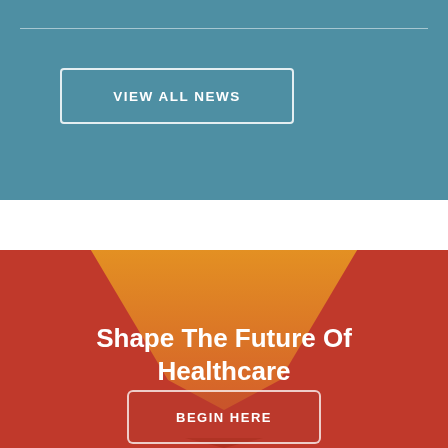[Figure (other): Teal/blue banner section with a horizontal white divider line near the top]
VIEW ALL NEWS
[Figure (illustration): Red background section with an orange diamond/chevron shape pointing downward, and a smaller red chevron at the very bottom]
Shape The Future Of Healthcare
BEGIN HERE